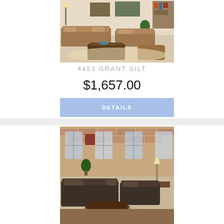[Figure (photo): Living room furniture set with brown/tan sofas, loveseat, ottoman and coffee table on a light rug]
4453 GRANT SILT
$1,657.00
DETAILS
[Figure (photo): Living room furniture set with dark charcoal/espresso leather sofas and loveseat, brick wall background with windows]